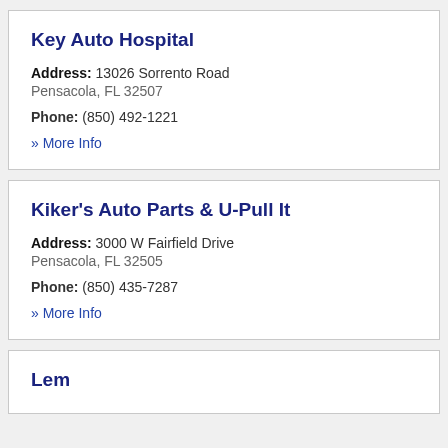Key Auto Hospital
Address: 13026 Sorrento Road Pensacola, FL 32507
Phone: (850) 492-1221
» More Info
Kiker's Auto Parts & U-Pull It
Address: 3000 W Fairfield Drive Pensacola, FL 32505
Phone: (850) 435-7287
» More Info